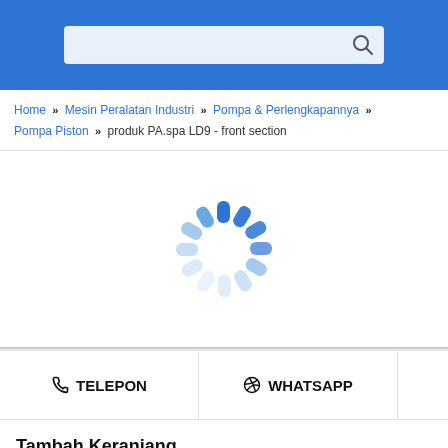[Search bar with search icon]
Home » Mesin Peralatan Industri » Pompa & Perlengkapannya » Pompa Piston » produk PA.spa LD9 - front section
[Figure (other): Loading spinner / activity indicator — circular spinner with blue and light-blue rounded bars arranged in a circle]
TELEPON   WHATSAPP
Tambah Keranjang